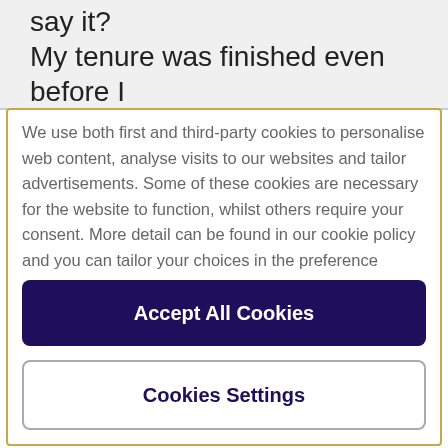say it? My tenure was finished even before I
We use both first and third-party cookies to personalise web content, analyse visits to our websites and tailor advertisements. Some of these cookies are necessary for the website to function, whilst others require your consent. More detail can be found in our cookie policy and you can tailor your choices in the preference centre.
Accept All Cookies
Cookies Settings